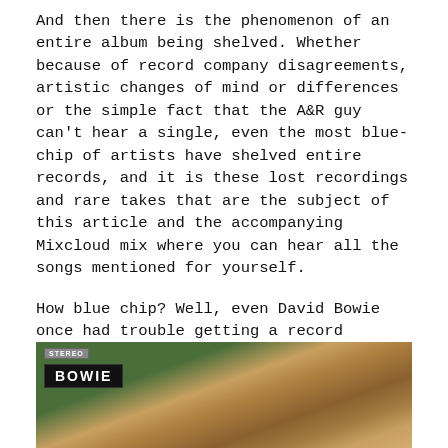And then there is the phenomenon of an entire album being shelved. Whether because of record company disagreements, artistic changes of mind or differences or the simple fact that the A&R guy can't hear a single, even the most blue-chip of artists have shelved entire records, and it is these lost recordings and rare takes that are the subject of this article and the accompanying Mixcloud mix where you can hear all the songs mentioned for yourself.
How blue chip? Well, even David Bowie once had trouble getting a record released...
[Figure (photo): Album cover or photo showing 'BOWIE' label text on a dark badge over a green background, with a person's hair visible at the bottom. A 'STEREO' badge appears in the top left corner.]